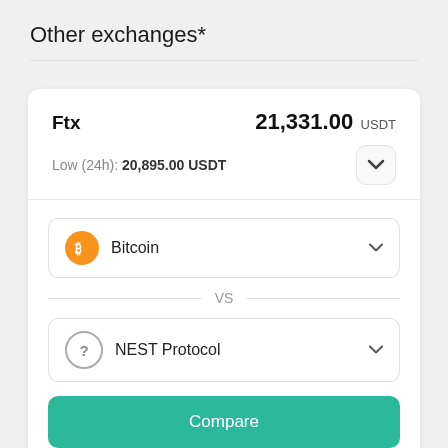Other exchanges*
Ftx   21,331.00 USDT
Low (24h):  20,895.00 USDT
Bitcoin
VS
NEST Protocol
Compare
Average (24h):  21,220.07 USDT